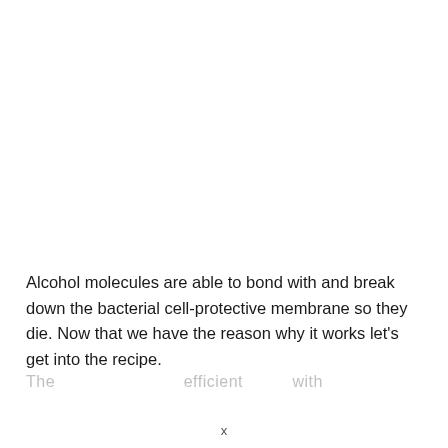Alcohol molecules are able to bond with and break down the bacterial cell-protective membrane so they die. Now that we have the reason why it works let's get into the recipe.
The... ... ... ... ... ... efficient... ... with...